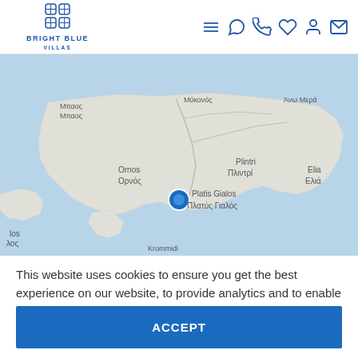Bright Blue Villas — navigation header with logo and icons
[Figure (map): Google Maps view of Mykonos island, Greece, showing locations: Μπαος/Μπαοc (Brao), Μύκονος (Mykonos), Άνω Μερά, Ornos/Ορνός, Plintri/Πλιντρί, Elia/Ελιά, Platis Gialos/Πλατύς Γιαλός (with blue location pin), Krommidi. Coastal island map with blue sea and grey land.]
This website uses cookies to ensure you get the best experience on our website, to provide analytics and to enable advertisements delivery. Learn more
ACCEPT